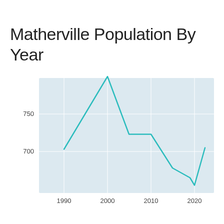Matherville Population By Year
[Figure (line-chart): Matherville Population By Year]